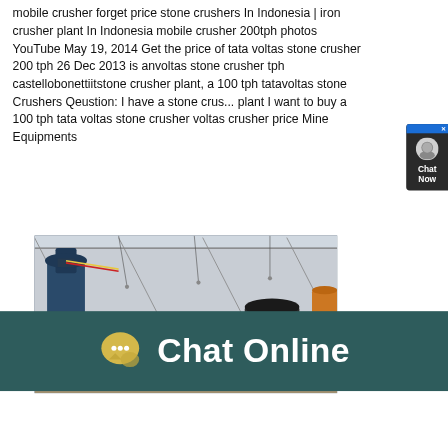mobile crusher forget price stone crushers In Indonesia | iron crusher plant In Indonesia mobile crusher 200tph photos YouTube May 19, 2014 Get the price of tata voltas stone crusher 200 tph 26 Dec 2013 is anvoltas stone crusher tph castellobonettiitstone crusher plant, a 100 tph tatavoltas stone Crushers Qeustion: I have a stone crusher plant I want to buy a 100 tph tata voltas stone crusher voltas crusher price Mine Equipments
[Figure (photo): Industrial crusher plant equipment inside a large warehouse/factory with machinery, conveyors, and red banners with Chinese text.]
[Figure (infographic): Chat Now widget on right side with dark background, blue close button with X, circular icon, and Chat Now text in white.]
Chat Online